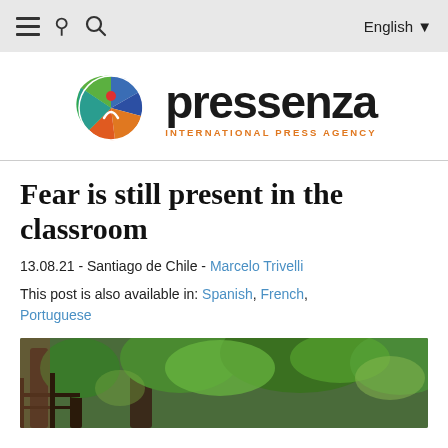≡ 🔍   English ▼
[Figure (logo): Pressenza International Press Agency logo — colorful globe icon on left, 'pressenza' in large black bold text, 'INTERNATIONAL PRESS AGENCY' in orange uppercase small text below]
Fear is still present in the classroom
13.08.21 - Santiago de Chile - Marcelo Trivelli
This post is also available in: Spanish, French, Portuguese
[Figure (photo): Outdoor photo showing trees and greenery with a rustic fence or gate structure, natural forest or garden setting]